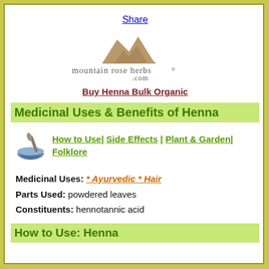Share
[Figure (logo): Mountain Rose Herbs logo with mountain silhouette and text 'mountain rose herbs .com']
Buy Henna Bulk Organic
Medicinal Uses & Benefits of Henna
How to Use| Side Effects | Plant & Garden| Folklore
Medicinal Uses: * Ayurvedic * Hair
Parts Used: powdered leaves
Constituents: hennotannic acid
How to Use: Henna